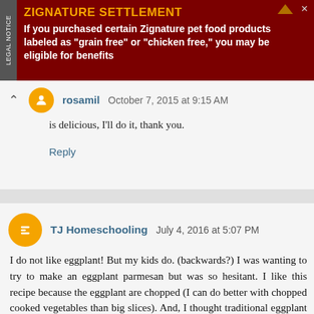[Figure (other): Advertisement banner for Zignature Settlement. Dark red background with legal notice tab on the left side. Title reads 'ZIGNATURE SETTLEMENT' in orange bold text. Body text in white bold: 'If you purchased certain Zignature pet food products labeled as "grain free" or "chicken free," you may be eligible for benefits']
rosamil  October 7, 2015 at 9:15 AM
is delicious, I'll do it, thank you.
Reply
TJ Homeschooling  July 4, 2016 at 5:07 PM
I do not like eggplant! But my kids do. (backwards?) I was wanting to try to make an eggplant parmesan but was so hesitant. I like this recipe because the eggplant are chopped (I can do better with chopped cooked vegetables than big slices). And, I thought traditional eggplant parmesan would not be as filling but I like that this has quinoa. Looking forward to trying this today (was just on my way into the kitchen to slice up eggplants